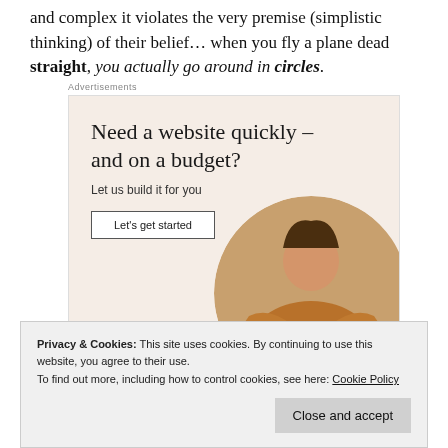and complex it violates the very premise (simplistic thinking) of their belief… when you fly a plane dead straight, you actually go around in circles.
[Figure (advertisement): Web hosting advertisement with beige background. Headline: 'Need a website quickly – and on a budget?' Subtext: 'Let us build it for you'. Button: 'Let's get started'. Circular photo of person typing on laptop.]
Privacy & Cookies: This site uses cookies. By continuing to use this website, you agree to their use. To find out more, including how to control cookies, see here: Cookie Policy
explanation for something is generally correct. In this